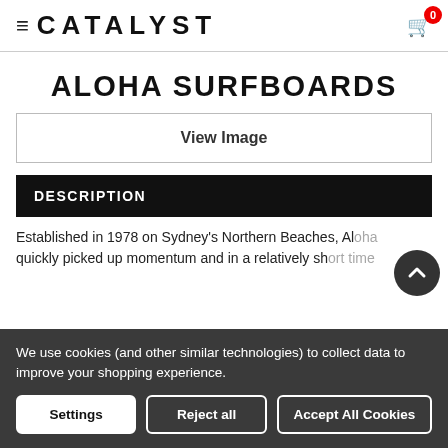≡ CATALYST 🛒 0
ALOHA SURFBOARDS
View Image
DESCRIPTION
Established in 1978 on Sydney's Northern Beaches, Aloha quickly picked up momentum and in a relatively sh...
We use cookies (and other similar technologies) to collect data to improve your shopping experience.
Settings  Reject all  Accept All Cookies